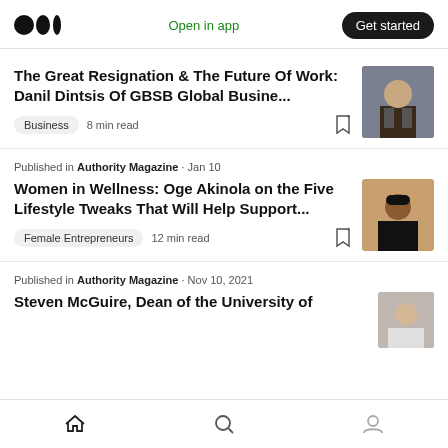Medium logo | Open in app | Get started
The Great Resignation & The Future Of Work: Danil Dintsis Of GBSB Global Busine...
Business  8 min read
Published in Authority Magazine · Jan 10
Women in Wellness: Oge Akinola on the Five Lifestyle Tweaks That Will Help Support...
Female Entrepreneurs  12 min read
Published in Authority Magazine · Nov 10, 2021
Steven McGuire, Dean of the University of
Home | Search | Profile